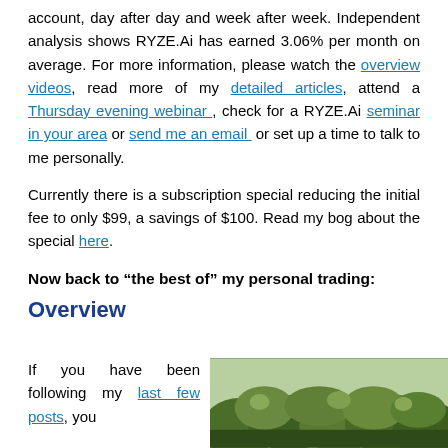account, day after day and week after week. Independent analysis shows RYZE.Ai has earned 3.06% per month on average. For more information, please watch the overview videos, read more of my detailed articles, attend a Thursday evening webinar , check for a RYZE.Ai seminar in your area or send me an email or set up a time to talk to me personally.
Currently there is a subscription special reducing the initial fee to only $99, a savings of $100. Read my bog about the special here.
Now back to “the best of” my personal trading:
Overview
If you have been following my last few posts, you
[Figure (photo): Outdoor landscape photo showing dense green shrubbery and trees]